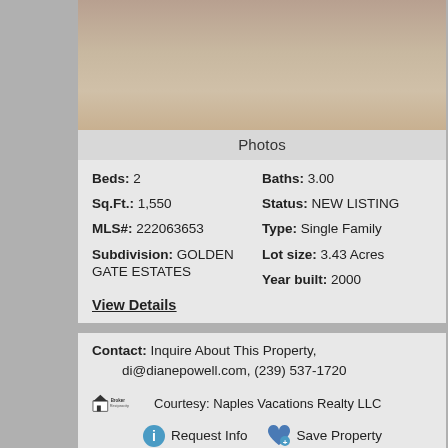[Figure (photo): Outdoor ground/sand/dirt photo, partial view of land]
Photos
Beds: 2   Baths: 3.00
Sq.Ft.: 1,550   Status: NEW LISTING
MLS#: 222063653   Type: Single Family
Subdivision: GOLDEN GATE ESTATES   Lot size: 3.43 Acres
Year built: 2000
View Details
Contact: Inquire About This Property, di@dianepowell.com, (239) 537-1720
Courtesy: Naples Vacations Realty LLC
Request Info   Save Property
View additional info
$700,000